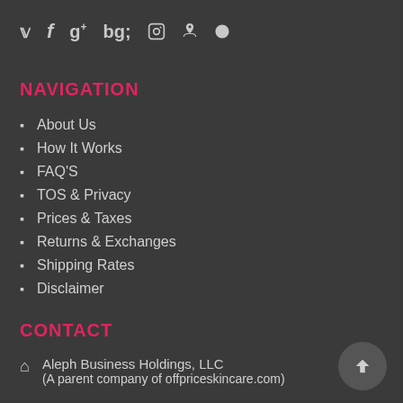[Figure (infographic): Social media icons: Twitter, Facebook, Google+, Instagram, Pinterest, Vimeo]
NAVIGATION
About Us
How It Works
FAQ'S
TOS & Privacy
Prices & Taxes
Returns & Exchanges
Shipping Rates
Disclaimer
CONTACT
Aleph Business Holdings, LLC
(A parent company of offpriceskincare.com)